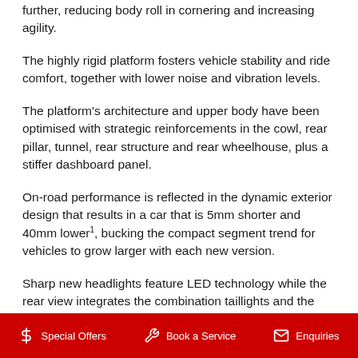further, reducing body roll in cornering and increasing agility.
The highly rigid platform fosters vehicle stability and ride comfort, together with lower noise and vibration levels.
The platform's architecture and upper body have been optimised with strategic reinforcements in the cowl, rear pillar, tunnel, rear structure and rear wheelhouse, plus a stiffer dashboard panel.
On-road performance is reflected in the dynamic exterior design that results in a car that is 5mm shorter and 40mm lower¹, bucking the compact segment trend for vehicles to grow larger with each new version.
Sharp new headlights feature LED technology while the rear view integrates the combination taillights and the rear
$ Special Offers   Book a Service   Enquiries